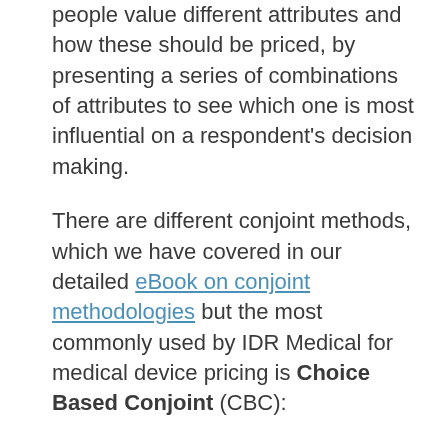people value different attributes and how these should be priced, by presenting a series of combinations of attributes to see which one is most influential on a respondent's decision making.
There are different conjoint methods, which we have covered in our detailed eBook on conjoint methodologies but the most commonly used by IDR Medical for medical device pricing is Choice Based Conjoint (CBC):
With this method, respondents see a series of choice tasks, comparing concepts each with limited attributes. The respondent is then asked to select